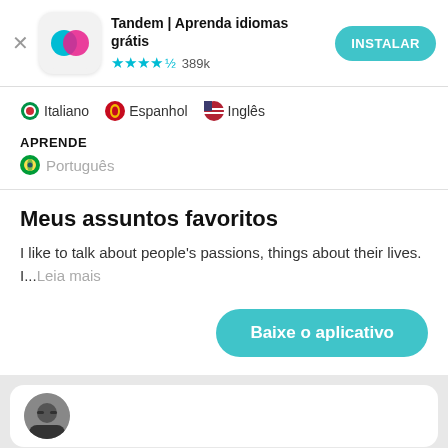[Figure (screenshot): App store banner for Tandem language learning app showing app icon with overlapping blue and pink circles]
Tandem | Aprenda idiomas grátis
★★★★½ 389k
INSTALAR
🇮🇹 Italiano  🇪🇸 Espanhol  🇺🇸 Inglês
APRENDE
🇧🇷 Português
Meus assuntos favoritos
I like to talk about people's passions, things about their lives. I...Leia mais
Baixe o aplicativo
[Figure (photo): Partial photo of a person wearing glasses at the bottom of the page]